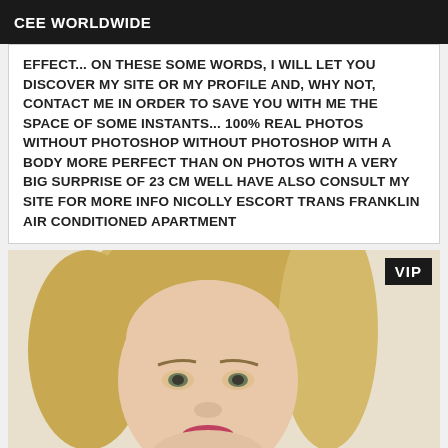CEE WORLDWIDE
EFFECT... ON THESE SOME WORDS, I WILL LET YOU DISCOVER MY SITE OR MY PROFILE AND, WHY NOT, CONTACT ME IN ORDER TO SAVE YOU WITH ME THE SPACE OF SOME INSTANTS... 100% REAL PHOTOS WITHOUT PHOTOSHOP WITHOUT PHOTOSHOP WITH A BODY MORE PERFECT THAN ON PHOTOS WITH A VERY BIG SURPRISE OF 23 CM WELL HAVE ALSO CONSULT MY SITE FOR MORE INFO NICOLLY ESCORT TRANS FRANKLIN AIR CONDITIONED APARTMENT
[Figure (photo): Close-up photo of a blonde woman with a VIP badge in the top right corner]